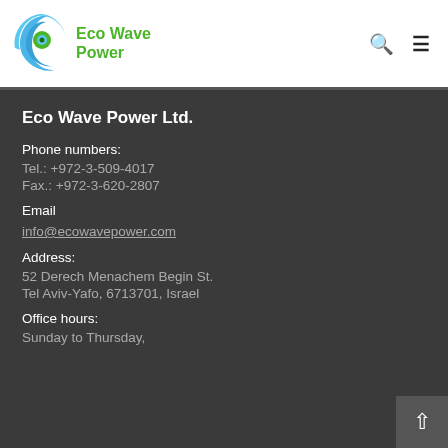Eco Wave Power
Eco Wave Power Ltd.
Phone numbers:
Tel.: +972-3-509-4017
Fax.: +972-3-620-2807
Email
info@ecowavepower.com
Address:
52 Derech Menachem Begin St.
Tel Aviv-Yafo, 6713701, Israel
Office hours:
Sunday to Thursday,